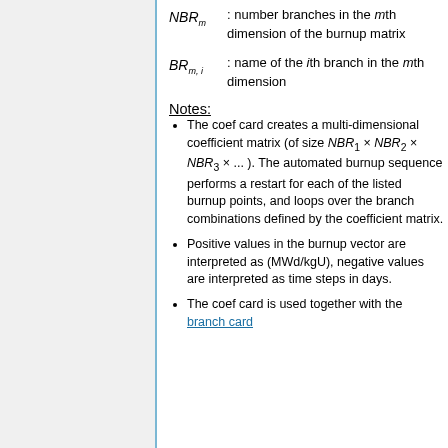NBR_m : number branches in the mth dimension of the burnup matrix
BR_{m,i} : name of the ith branch in the mth dimension
Notes:
The coef card creates a multi-dimensional coefficient matrix (of size NBR_1 × NBR_2 × NBR_3 × ... ). The automated burnup sequence performs a restart for each of the listed burnup points, and loops over the branch combinations defined by the coefficient matrix.
Positive values in the burnup vector are interpreted as (MWd/kgU), negative values are interpreted as time steps in days.
The coef card is used together with the branch card